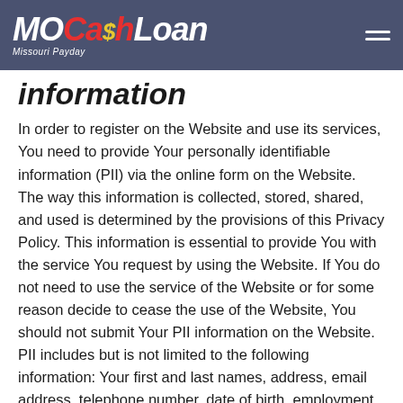MOCashLoan Missouri Payday
information
In order to register on the Website and use its services, You need to provide Your personally identifiable information (PII) via the online form on the Website. The way this information is collected, stored, shared, and used is determined by the provisions of this Privacy Policy. This information is essential to provide You with the service You request by using the Website. If You do not need to use the service of the Website or for some reason decide to cease the use of the Website, You should not submit Your PII information on the Website. PII includes but is not limited to the following information: Your first and last names, address, email address, telephone number, date of birth, employment information, Social Security number, other ID information, banking information.
NB: SS number and banking information are used only to